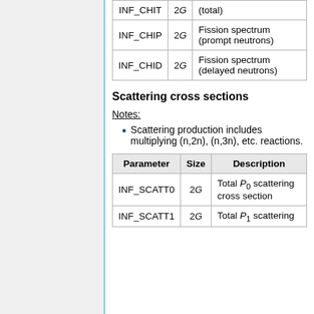| Parameter | Size | Description |
| --- | --- | --- |
| INF_CHIT | 2G | (total) |
| INF_CHIP | 2G | Fission spectrum (prompt neutrons) |
| INF_CHID | 2G | Fission spectrum (delayed neutrons) |
Scattering cross sections
Notes:
Scattering production includes multiplying (n,2n), (n,3n), etc. reactions.
| Parameter | Size | Description |
| --- | --- | --- |
| INF_SCATT0 | 2G | Total P0 scattering cross section |
| INF_SCATT1 | 2G | Total P1 scattering |